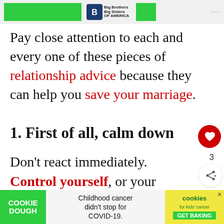[Figure (screenshot): Top navigation banner with green bar, Big Brothers Big Sisters logo, and menu icon]
Pay close attention to each and every one of these pieces of relationship advice because they can help you save your marriage.
1. First of all, calm down
Don't react immediately. Control yourself, or your anger will control you and make you do something you won't be proud of once you cool down.
[Figure (screenshot): Bottom cookie dough advertisement banner: COOKIE DOUGH - Childhood cancer didn't stop for COVID-19. cookies for kids cancer GET BAKING]